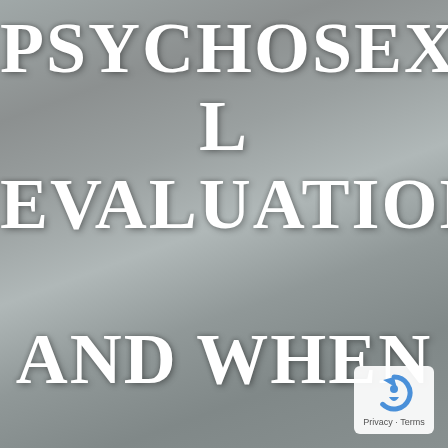PSYCHOSEXUAL EVALUATION AND WHEN WILL A JUDGE ORDER ONE?
[Figure (logo): Google reCAPTCHA logo with Privacy and Terms text]